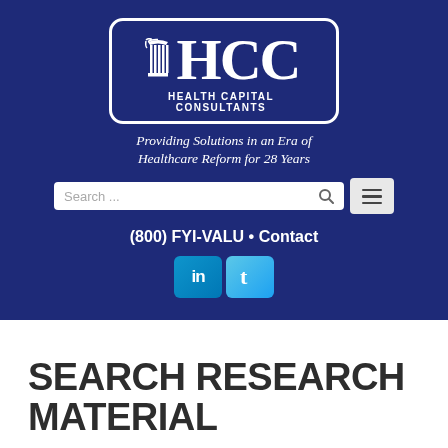[Figure (logo): HCC Health Capital Consultants logo in white on dark navy blue background, with column/pillar icon, inside rounded rectangle border]
Providing Solutions in an Era of Healthcare Reform for 28 Years
Search ...
(800) FYI-VALU • Contact
[Figure (other): LinkedIn and Twitter social media icons]
SEARCH RESEARCH MATERIAL